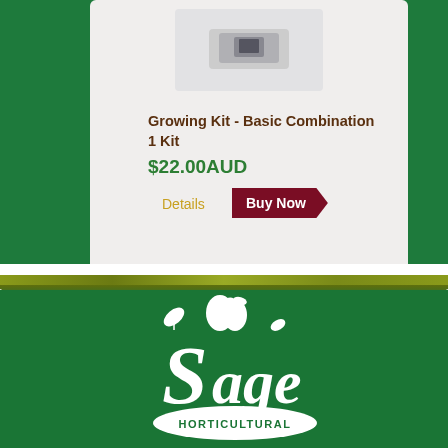[Figure (photo): Product image of a Growing Kit item shown in a small rounded rectangle container]
Growing Kit - Basic Combination 1 Kit
$22.00AUD
Details
Buy Now
[Figure (logo): Sage Horticultural logo — white decorative script text with fruit and leaf illustrations on dark green background]